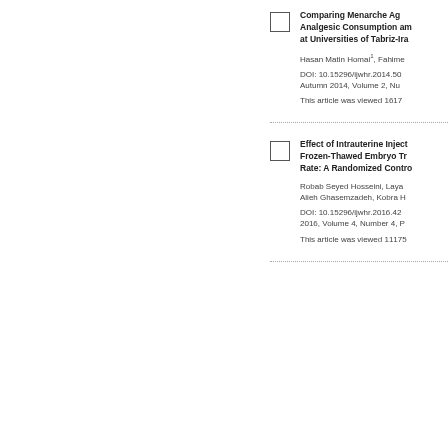Comparing Menarche Age, Dysmenorrhea and Analgesic Consumption among Female Students at Universities of Tabriz-Iran
Hasan Matin Homai1, Fahime...
DOI: 10.15296/ijwhr.2014.50
Autumn 2014, Volume 2, Nu...
This article was viewed 1617...
Effect of Intrauterine Inject... Frozen-Thawed Embryo Tr... Rate: A Randomized Contro...
Robab Seyed Hosseini, Laya... Alieh Ghasemzadeh, Kobra H...
DOI: 10.15296/ijwhr.2016.42... 2016, Volume 4, Number 4, P...
This article was viewed 11175...